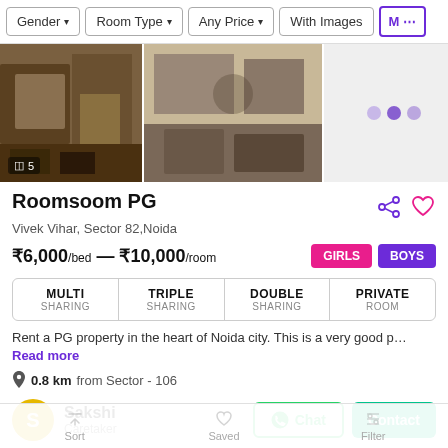Gender | Room Type | Any Price | With Images | More
[Figure (screenshot): Three property photos in a horizontal strip: two room interior photos and one loading/empty placeholder with dots]
Roomsoom PG
Vivek Vihar, Sector 82,Noida
₹6,000/bed — ₹10,000/room | GIRLS | BOYS
| MULTI SHARING | TRIPLE SHARING | DOUBLE SHARING | PRIVATE ROOM |
| --- | --- | --- | --- |
Rent a PG property in the heart of Noida city. This is a very good p… Read more
0.8 km from Sector - 106
Sakshi
Caretaker
Chat | Contact